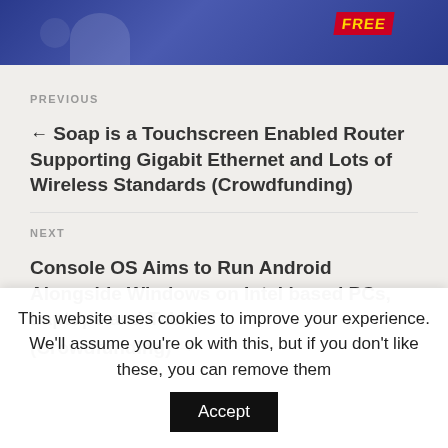[Figure (illustration): Partial banner image with blue background, ghost-like shape, and red tag with yellow text reading 'FREE']
PREVIOUS
← Soap is a Touchscreen Enabled Router Supporting Gigabit Ethernet and Lots of Wireless Standards (Crowdfunding)
NEXT
Console OS Aims to Run Android Alongside Windows on Intel based PCs, Laptops and Tablets (Crowdfunding) →
This website uses cookies to improve your experience. We'll assume you're ok with this, but if you don't like these, you can remove them